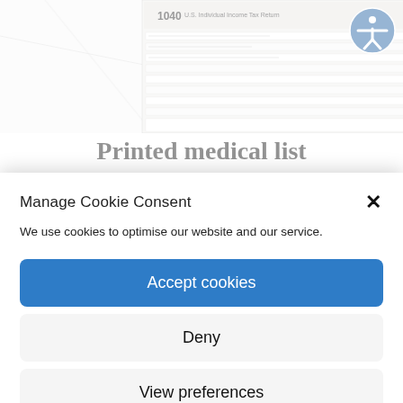[Figure (photo): Photo of IRS Form 1040 tax document with an orange folder/envelope, placed on a white marble surface]
Printed medical list
Manage Cookie Consent
We use cookies to optimise our website and our service.
Accept cookies
Deny
View preferences